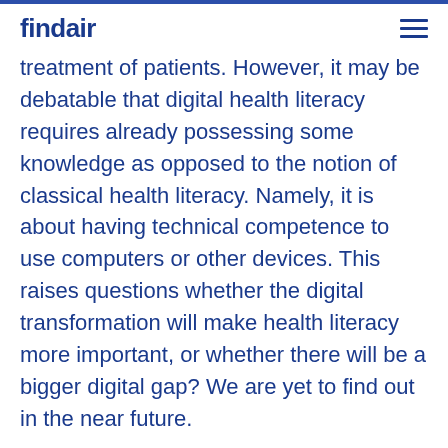findair
treatment of patients. However, it may be debatable that digital health literacy requires already possessing some knowledge as opposed to the notion of classical health literacy. Namely, it is about having technical competence to use computers or other devices. This raises questions whether the digital transformation will make health literacy more important, or whether there will be a bigger digital gap? We are yet to find out in the near future.